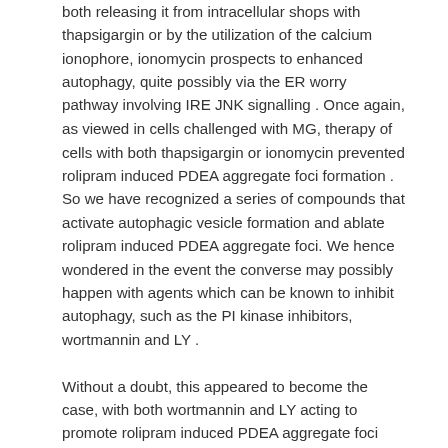both releasing it from intracellular shops with thapsigargin or by the utilization of the calcium ionophore, ionomycin prospects to enhanced autophagy, quite possibly via the ER worry pathway involving IRE JNK signalling . Once again, as viewed in cells challenged with MG, therapy of cells with both thapsigargin or ionomycin prevented rolipram induced PDEA aggregate foci formation . So we have recognized a series of compounds that activate autophagic vesicle formation and ablate rolipram induced PDEA aggregate foci. We hence wondered in the event the converse may possibly happen with agents which can be known to inhibit autophagy, such as the PI kinase inhibitors, wortmannin and LY . Without a doubt, this appeared to become the case, with both wortmannin and LY acting to promote rolipram induced PDEA aggregate foci formation . These observations prompted us to evaluate a series of other compounds, which are acknowledged to alter main cell signalling pathways, on rolipram induced PDEA aggregate foci formation. In engaging in this we observed that inhibiting the ERK MAPK signalling pathway, with both